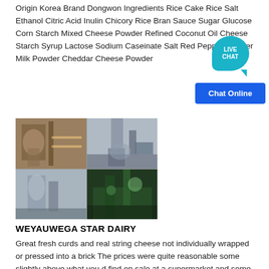Origin Korea Brand Dongwon Ingredients Rice Cake Rice Salt Ethanol Citric Acid Inulin Chicory Rice Bran Sauce Sugar Glucose Corn Starch Mixed Cheese Powder Refined Coconut Oil Cheese Starch Syrup Lactose Sodium Caseinate Salt Red Pepper Powder Milk Powder Cheddar Cheese Powder
[Figure (photo): A 2x2 grid of photos showing industrial/dairy processing equipment and facilities: machinery with stone carvings, industrial silos/tanks in a factory, outdoor industrial tanks, and a green-lit industrial interior.]
WEYAUWEGA STAR DAIRY
Great fresh curds and real string cheese not individually wrapped or pressed into a brick The prices were quite reasonable some slightly above what you d find on sale at a supermarket and some a little less Lots of